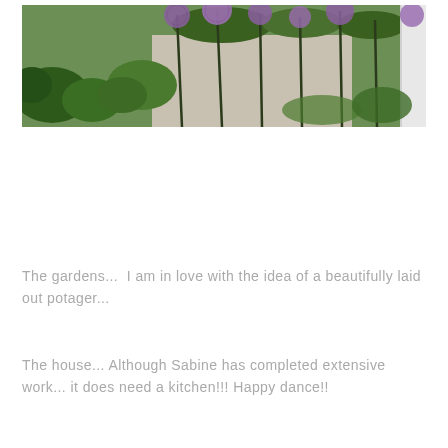[Figure (photo): Garden photo showing green plants, tall allium flowers with purple globe-shaped blooms on long stems, gravel path, and a white column/pillar on the right side.]
The gardens...  I am in love with the idea of a beautifully laid out potager...
The house... Although Sabine has completed extensive work... it does need a kitchen!!! Happy dance!!